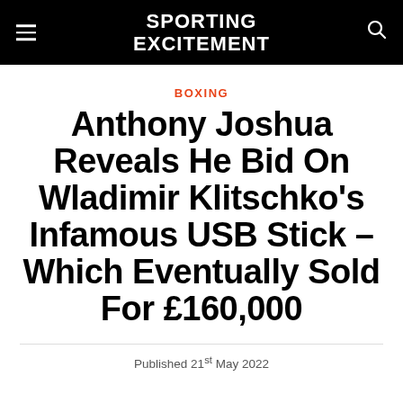SPORTING EXCITEMENT
BOXING
Anthony Joshua Reveals He Bid On Wladimir Klitschko's Infamous USB Stick – Which Eventually Sold For £160,000
Published 21st May 2022